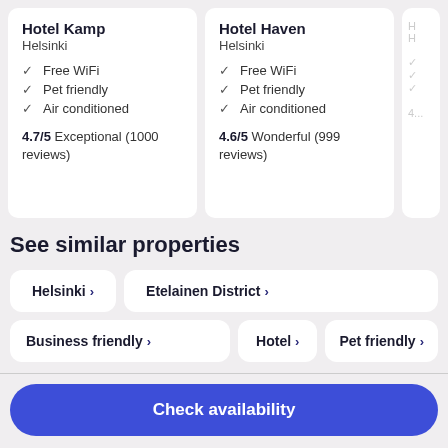Hotel Kamp
Helsinki
✓ Free WiFi
✓ Pet friendly
✓ Air conditioned
4.7/5 Exceptional (1000 reviews)
Hotel Haven
Helsinki
✓ Free WiFi
✓ Pet friendly
✓ Air conditioned
4.6/5 Wonderful (999 reviews)
See similar properties
Helsinki ›
Etelainen District ›
Business friendly ›
Hotel ›
Pet friendly ›
Check availability